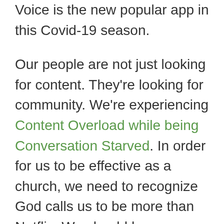Voice is the new popular app in this Covid-19 season.

Our people are not just looking for content. They're looking for community. We're experiencing Content Overload while being Conversation Starved. In order for us to be effective as a church, we need to recognize God calls us to be more than Netflix. We should have a higher standard than Disney+. Okay, our physical buildings can't hold to the physical standard of Disney World, but we've always said Church is more than a building. Church is the people. And in